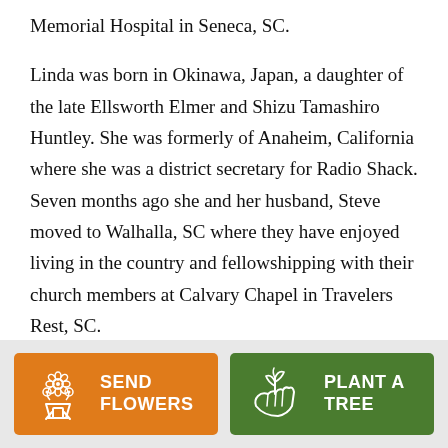Memorial Hospital in Seneca, SC.
Linda was born in Okinawa, Japan, a daughter of the late Ellsworth Elmer and Shizu Tamashiro Huntley. She was formerly of Anaheim, California where she was a district secretary for Radio Shack. Seven months ago she and her husband, Steve moved to Walhalla, SC where they have enjoyed living in the country and fellowshipping with their church members at Calvary Chapel in Travelers Rest, SC.
[Figure (infographic): Orange button with flower icon labeled SEND FLOWERS and green button with plant icon labeled PLANT A TREE]
SEND FLOWERS
PLANT A TREE